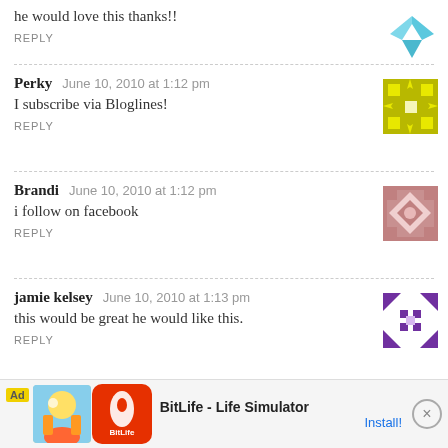he would love this thanks!!
REPLY
Perky   June 10, 2010 at 1:12 pm
I subscribe via Bloglines!
REPLY
Brandi   June 10, 2010 at 1:12 pm
i follow on facebook
REPLY
jamie kelsey   June 10, 2010 at 1:13 pm
this would be great he would like this.
REPLY
jamie kelsey   June 10, 2010 at 1:13 pm
i subscr...
REPLY
Ad   BitLife - Life Simulator   Install!